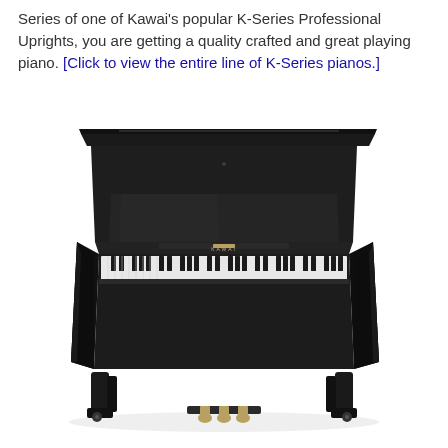Series of one of Kawai's popular K-Series Professional Uprights, you are getting a quality crafted and great playing piano. [Click to view the entire line of K-Series pianos.]
[Figure (photo): A black Kawai upright piano (K-Series Professional Upright) shown in a three-quarter front view against a white background, featuring polished ebony finish, white and black keys, three gold pedals at the bottom, and the KAWAI brand name on the fallboard.]